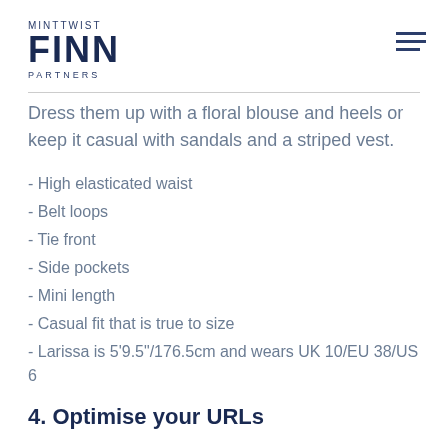MINTTWIST FINN PARTNERS
Dress them up with a floral blouse and heels or keep it casual with sandals and a striped vest.
- High elasticated waist
- Belt loops
- Tie front
- Side pockets
- Mini length
- Casual fit that is true to size
- Larissa is 5'9.5"/176.5cm and wears UK 10/EU 38/US 6
4. Optimise your URLs